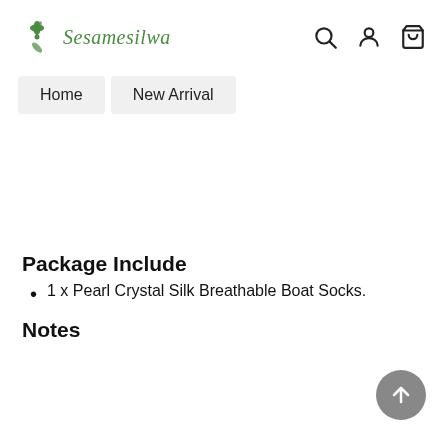Sesamesilwa — navigation header with search, account, and cart icons
Home  New Arrival
Package Include
1 x Pearl Crystal Silk Breathable Boat Socks.
Notes